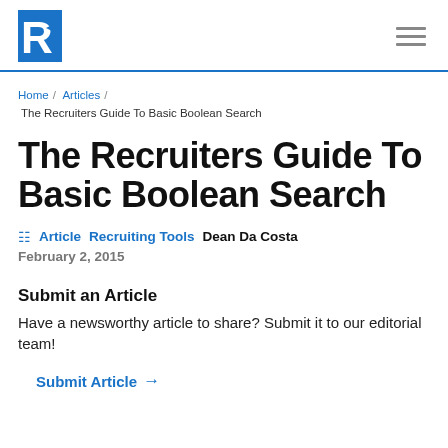R [logo] | hamburger menu
Home / Articles / The Recruiters Guide To Basic Boolean Search
The Recruiters Guide To Basic Boolean Search
Article  Recruiting Tools  Dean Da Costa  February 2, 2015
Submit an Article
Have a newsworthy article to share? Submit it to our editorial team!
Submit Article →